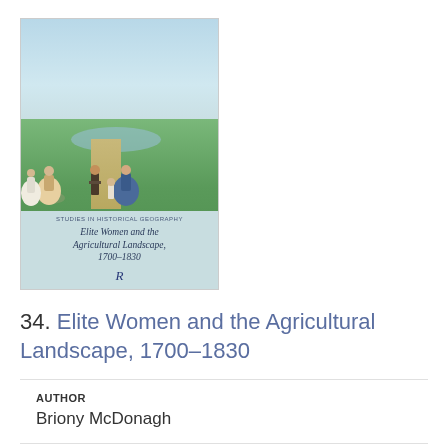[Figure (illustration): Book cover of 'Elite Women and the Agricultural Landscape, 1700-1830' published by Routledge. Shows a pastoral scene with figures in 18th century dress walking beside a pond in a landscaped garden. The cover has a teal/blue-green background with the title in italic script and the Routledge 'R' logo.]
34. Elite Women and the Agricultural Landscape, 1700–1830
AUTHOR
Briony McDonagh
PUBLICATION DATE
2018